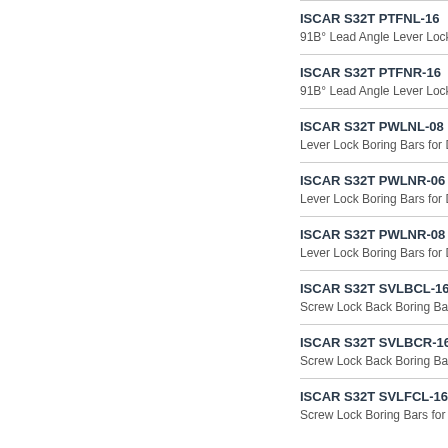ISCAR S32T PTFNL-16
91B° Lead Angle Lever Lock
ISCAR S32T PTFNR-16
91B° Lead Angle Lever Lock
ISCAR S32T PWLNL-08
Lever Lock Boring Bars for D
ISCAR S32T PWLNR-06
Lever Lock Boring Bars for D
ISCAR S32T PWLNR-08
Lever Lock Boring Bars for D
ISCAR S32T SVLBCL-16
Screw Lock Back Boring Bars
ISCAR S32T SVLBCR-16
Screw Lock Back Boring Bars
ISCAR S32T SVLFCL-16
Screw Lock Boring Bars for 3